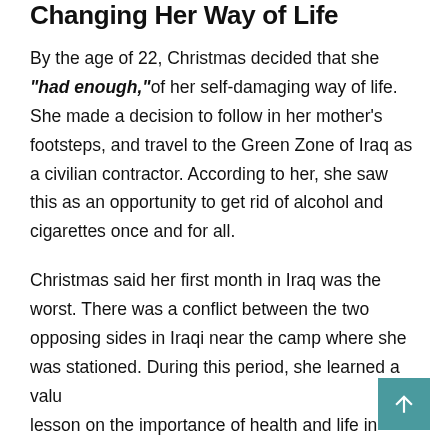Changing Her Way of Life
By the age of 22, Christmas decided that she "had enough," of her self-damaging way of life. She made a decision to follow in her mother's footsteps, and travel to the Green Zone of Iraq as a civilian contractor. According to her, she saw this as an opportunity to get rid of alcohol and cigarettes once and for all.
Christmas said her first month in Iraq was the worst. There was a conflict between the two opposing sides in Iraqi near the camp where she was stationed. During this period, she learned a valu… lesson on the importance of health and life in